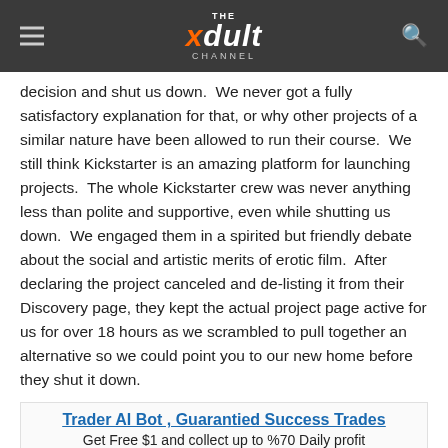THE xdult CHANNEL
decision and shut us down.  We never got a fully satisfactory explanation for that, or why other projects of a similar nature have been allowed to run their course.  We still think Kickstarter is an amazing platform for launching projects.  The whole Kickstarter crew was never anything less than polite and supportive, even while shutting us down.  We engaged them in a spirited but friendly debate about the social and artistic merits of erotic film.  After declaring the project canceled and de-listing it from their Discovery page, they kept the actual project page active for us for over 18 hours as we scrambled to pull together an alternative so we could point you to our new home before they shut it down.
[Figure (other): Advertisement banner: 'Trader AI Bot , Guarantied Success Trades — Get Free $1 and collect up to %70 Daily profit — ghooda.com']
“Project Misty” feels like home now, but we are only here for